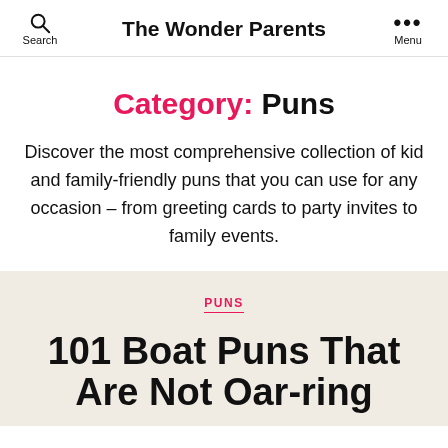Search  The Wonder Parents  Menu
Category: Puns
Discover the most comprehensive collection of kid and family-friendly puns that you can use for any occasion – from greeting cards to party invites to family events.
PUNS
101 Boat Puns That Are Not Oar-ring